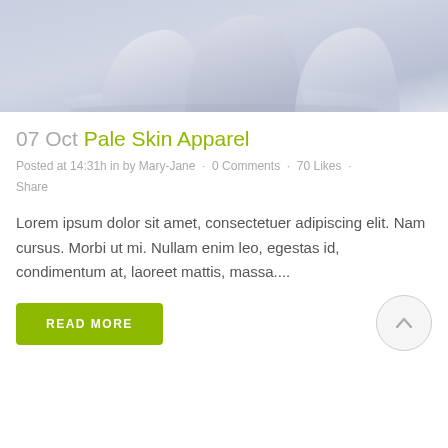[Figure (photo): Partial photo of white ceramic cups/dishes on a light background, cropped at top]
07 Oct Pale Skin Apparel
Posted at 14:31h in by Mary-Jane • 0 Comments • 70 Likes • Share
Lorem ipsum dolor sit amet, consectetuer adipiscing elit. Nam cursus. Morbi ut mi. Nullam enim leo, egestas id, condimentum at, laoreet mattis, massa....
READ MORE